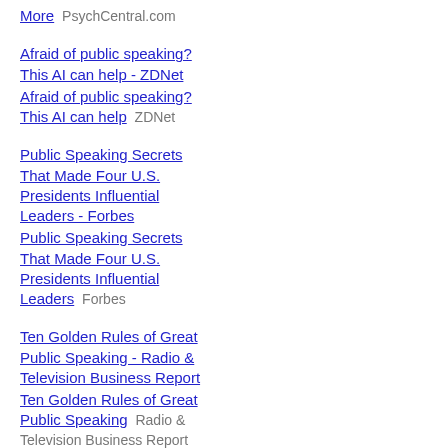More  PsychCentral.com
Afraid of public speaking? This AI can help - ZDNet
Afraid of public speaking? This AI can help  ZDNet
Public Speaking Secrets That Made Four U.S. Presidents Influential Leaders - Forbes
Public Speaking Secrets That Made Four U.S. Presidents Influential Leaders  Forbes
Ten Golden Rules of Great Public Speaking - Radio & Television Business Report
Ten Golden Rules of Great Public Speaking  Radio & Television Business Report
Why Getty Images gambled on a SPAC to go public after a 14-year absence from public markets - Fortune